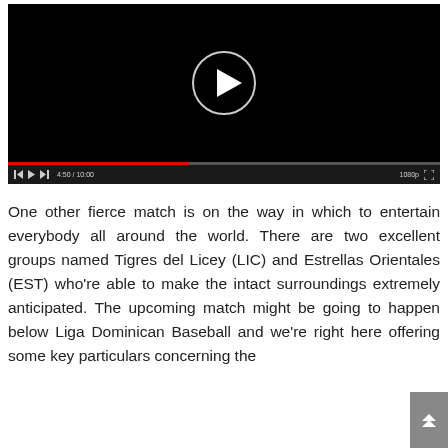[Figure (screenshot): Video player with black background showing a play button (circle with triangle) in the center, a progress bar showing 4:50/10:00, playback controls at bottom left, and 1080p quality indicator at bottom right.]
One other fierce match is on the way in which to entertain everybody all around the world. There are two excellent groups named Tigres del Licey (LIC) and Estrellas Orientales (EST) who're able to make the intact surroundings extremely anticipated. The upcoming match might be going to happen below Liga Dominican Baseball and we're right here offering some key particulars concerning the